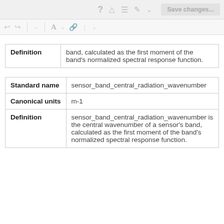[Figure (screenshot): Toolbar with icons: question mark, warning triangle, hamburger menu, pencil, chevron, and a Save changes button]
[Figure (screenshot): Secondary toolbar with undo, redo arrows, dropdown, font A with dropdown, link icon, list icon with dropdown]
| Definition | band, calculated as the first moment of the band's normalized spectral response function. |
| Standard name | sensor_band_central_radiation_wavenumber |
| Canonical units | m-1 |
| Definition | sensor_band_central_radiation_wavenumber is the central wavenumber of a sensor's band, calculated as the first moment of the band's normalized spectral response function. |